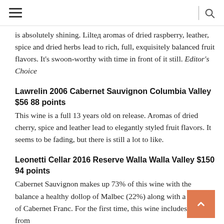≡  |  🔍
is absolutely shining. Liltед aromas of dried raspberry, leather, spice and dried herbs lead to rich, full, exquisitely balanced fruit flavors. It's swoon-worthy with time in front of it still. Editor's Choice
Lawrelin 2006 Cabernet Sauvignon Columbia Valley $56 88 points
This wine is a full 13 years old on release. Aromas of dried cherry, spice and leather lead to elegantly styled fruit flavors. It seems to be fading, but there is still a lot to like.
Leonetti Cellar 2016 Reserve Walla Walla Valley $150 94 points
Cabernet Sauvignon makes up 73% of this wine with the balance a healthy dollop of Malbec (22%) along with a smidgen of Cabernet Franc. For the first time, this wine includes fruit from